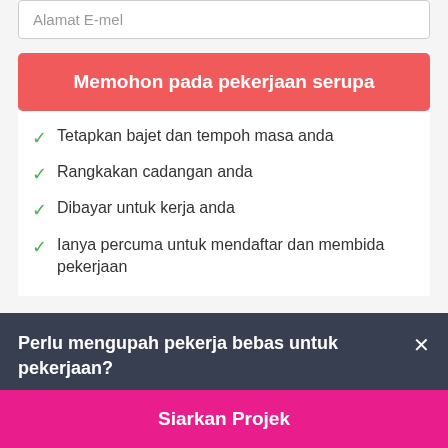Alamat E-mel
Memohon pada pekerjaan serupa
Tetapkan bajet dan tempoh masa anda
Rangkakan cadangan anda
Dibayar untuk kerja anda
Ianya percuma untuk mendaftar dan membida pekerjaan
Perlu mengupah pekerja bebas untuk pekerjaan?
Siarkan Projek